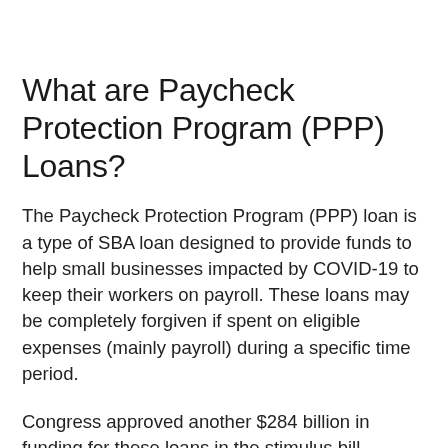What are Paycheck Protection Program (PPP) Loans?
The Paycheck Protection Program (PPP) loan is a type of SBA loan designed to provide funds to help small businesses impacted by COVID-19 to keep their workers on payroll. These loans may be completely forgiven if spent on eligible expenses (mainly payroll) during a specific time period.
Congress approved another $284 billion in funding for these loans in the stimulus bill enacted on December 27, 2020. See below for more information